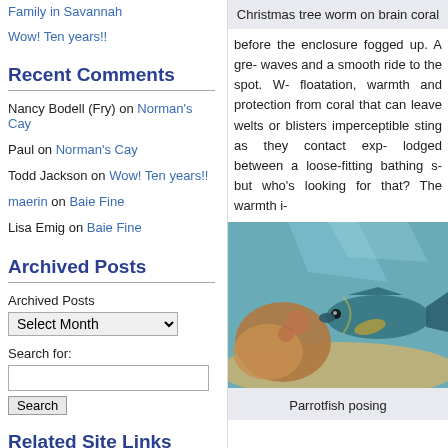Family in Savannah
Wow! Ten years!!
Recent Comments
Nancy Bodell (Fry) on Norman's Cay
Paul on Norman's Cay
Todd Jackson on Wow! Ten years!!
maerin on Baie Fine
Lisa Emig on Baie Fine
Archived Posts
Archived Posts
Select Month
Search for:
Related Site Links
Christmas tree worm on brain coral
before the enclosure fogged up. A gre- waves and a smooth ride to the spot. W- floatation, warmth and protection from coral that can leave welts or blisters imperceptible sting as they contact exp- lodged between a loose-fitting bathing s- but who’s looking for that? The warmth i-
[Figure (photo): Underwater photo of a parrotfish posing near coral]
Parrotfish posing